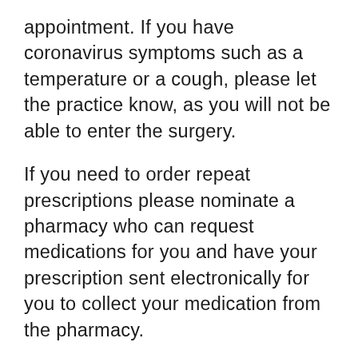appointment. If you have coronavirus symptoms such as a temperature or a cough, please let the practice know, as you will not be able to enter the surgery.
If you need to order repeat prescriptions please nominate a pharmacy who can request medications for you and have your prescription sent electronically for you to collect your medication from the pharmacy.
We are open as normal
We would like to encourage our patients that the NHS is still OPEN and your